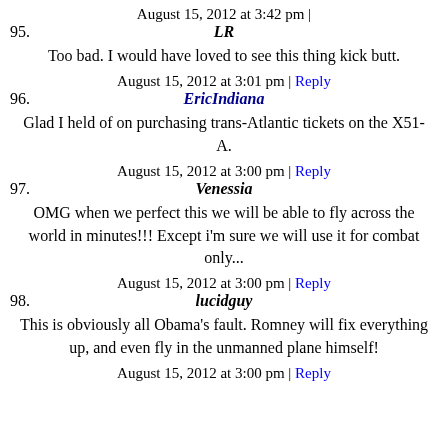August 15, 2012 at 3:42 pm |
95. LR
Too bad. I would have loved to see this thing kick butt.
August 15, 2012 at 3:01 pm | Reply
96. EricIndiana
Glad I held of on purchasing trans-Atlantic tickets on the X51-A.
August 15, 2012 at 3:00 pm | Reply
97. Venessia
OMG when we perfect this we will be able to fly across the world in minutes!!! Except i'm sure we will use it for combat only...
August 15, 2012 at 3:00 pm | Reply
98. lucidguy
This is obviously all Obama's fault. Romney will fix everything up, and even fly in the unmanned plane himself!
August 15, 2012 at 3:00 pm | Reply